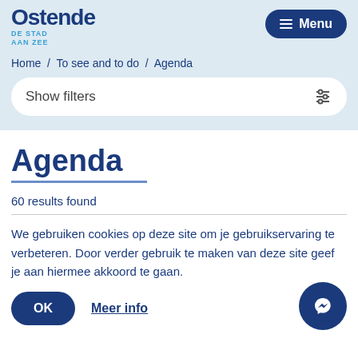[Figure (logo): Oostende DE STAD AAN ZEE logo in dark blue and light blue]
≡ Menu
Home / To see and to do / Agenda
Show filters
Agenda
60 results found
We gebruiken cookies op deze site om je gebruikservaring te verbeteren. Door verder gebruik te maken van deze site geef je aan hiermee akkoord te gaan.
OK
Meer info